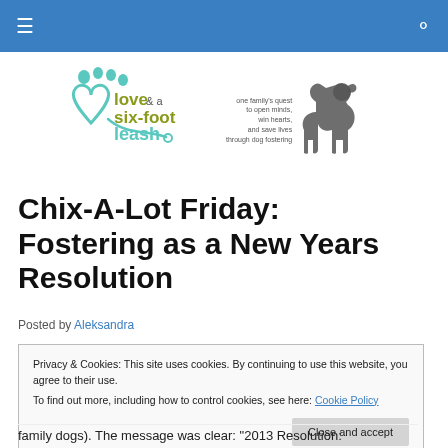≡  🔍
[Figure (logo): Love & a Six-Foot Leash blog logo with paw print, heart shape, leash, dog silhouette, and tagline: one family's quest to open minds, win hearts, and save lives through dog fostering]
Chix-A-Lot Friday: Fostering as a New Years Resolution
Posted by Aleksandra
Privacy & Cookies: This site uses cookies. By continuing to use this website, you agree to their use.
To find out more, including how to control cookies, see here: Cookie Policy
[Close and accept]
family dogs). The message was clear: "2013 Resolution: